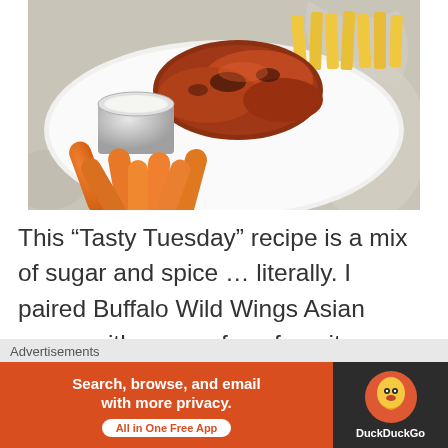[Figure (photo): A white rectangular plate with grilled/glazed chicken wings, baby carrots, and french fries, with a small metal cup of dipping sauce (ranch), placed on a marble-patterned surface.]
This “Tasty Tuesday” recipe is a mix of sugar and spice … literally. I paired Buffalo Wild Wings Asian sauce with some of my favorite sauces, brown sugar and ended with a zinger taste and flavor for these wings. These tasty chicken
[Figure (screenshot): DuckDuckGo advertisement banner: orange left side with text 'Search, browse, and email with more privacy. All in One Free App', black right side with DuckDuckGo duck logo and 'DuckDuckGo' text.]